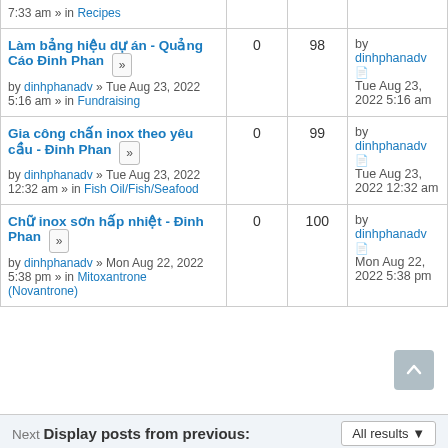| Topic | Replies | Views | Last post |
| --- | --- | --- | --- |
| 7:33 am » in Recipes |  |  |  |
| Làm bảng hiệu dự án - Quảng Cáo Đinh Phan
by dinhphanadv » Tue Aug 23, 2022 5:16 am » in Fundraising | 0 | 98 | by dinhphanadv
Tue Aug 23, 2022 5:16 am |
| Gia công chấn inox theo yêu cầu - Đinh Phan
by dinhphanadv » Tue Aug 23, 2022 12:32 am » in Fish Oil/Fish/Seafood | 0 | 99 | by dinhphanadv
Tue Aug 23, 2022 12:32 am |
| Chữ inox sơn hấp nhiệt - Đinh Phan
by dinhphanadv » Mon Aug 22, 2022 5:38 pm » in Mitoxantrone (Novantrone) | 0 | 100 | by dinhphanadv
Mon Aug 22, 2022 5:38 pm |
Next Display posts from previous:
All results